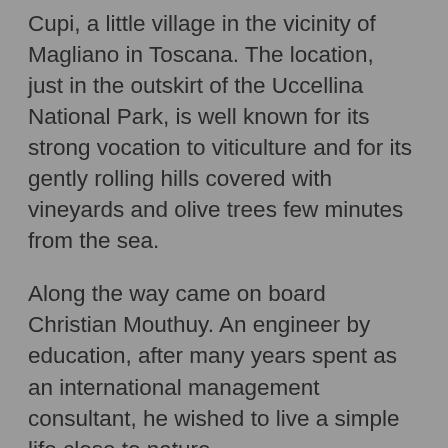Cupi, a little village in the vicinity of Magliano in Toscana. The location, just in the outskirt of the Uccellina National Park, is well known for its strong vocation to viticulture and for its gently rolling hills covered with vineyards and olive trees few minutes from the sea.
Along the way came on board Christian Mouthuy. An engineer by education, after many years spent as an international management consultant, he wished to live a simple life close to nature.
So a green and sustainable boutique winery was born, with the mission to produce fine organic wines respectful of the tradition and the environment but open to innovation, with